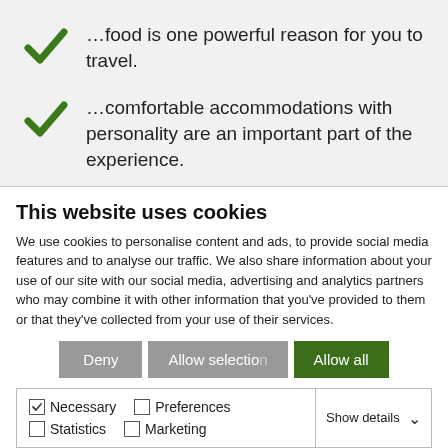…food is one powerful reason for you to travel.
…comfortable accommodations with personality are an important part of the experience.
This website uses cookies
We use cookies to personalise content and ads, to provide social media features and to analyse our traffic. We also share information about your use of our site with our social media, advertising and analytics partners who may combine it with other information that you've provided to them or that they've collected from your use of their services.
Deny | Allow selection | Allow all
Necessary  Preferences  Statistics  Marketing  Show details